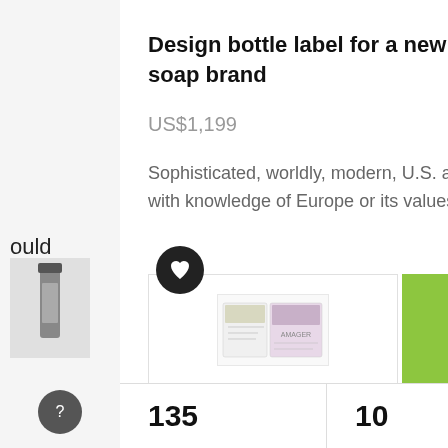ould
ome
Design bottle label for a new French riviera luxury soap brand
US$1,199
Sophisticated, worldly, modern, U.S. and internationally based, but with knowledge of Europe or its values, 25-50 years
[Figure (photo): Product images of soap bottle labels and soap bottles]
60 Bi... for N...
US$1...
* At b... awar... show... mock...
135
10
462